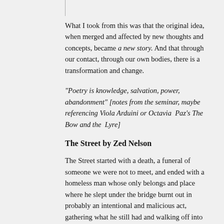What I took from this was that the original idea, when merged and affected by new thoughts and concepts, became a new story. And that through our contact, through our own bodies, there is a transformation and change.
“Poetry is knowledge, salvation, power, abandonment” [notes from the seminar, maybe referencing Viola Arduini or Octavia Paz’s The Bow and the Lyre]
The Street by Zed Nelson
The Street started with a death, a funeral of someone we were not to meet, and ended with a homeless man whose only belongs and place where he slept under the bridge burnt out in probably an intentional and malicious act, gathering what he still had and walking off into the distance. And in-between we met the